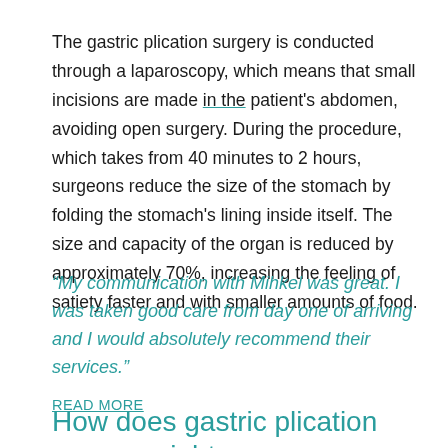The gastric plication surgery is conducted through a laparoscopy, which means that small incisions are made in the patient's abdomen, avoiding open surgery. During the procedure, which takes from 40 minutes to 2 hours, surgeons reduce the size of the stomach by folding the stomach's lining inside itself. The size and capacity of the organ is reduced by approximately 70%, increasing the feeling of satiety faster and with smaller amounts of food.
“My communication with Mihkel was great. I was taken good care from day one of arriving and I would absolutely recommend their services.”
READ MORE
How does gastric plication cause weight